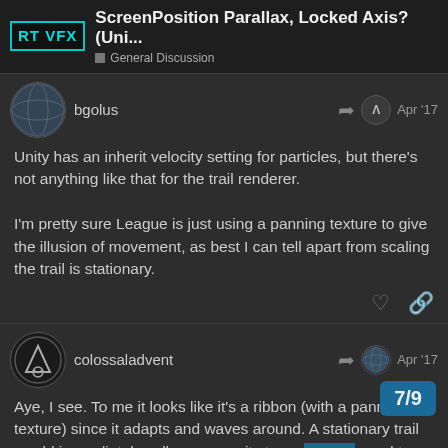RT VFX — ScreenPosition Parallax, Locked Axis? (Uni... — General Discussion
bgolus — Apr '17
Unity has an inherit velocity setting for particles, but there's not anything like that for the trail renderer.

I'm pretty sure League is just using a panning texture to give the illusion of movement, as best I can tell apart from scaling the trail is stationary.
colossaladvent — Apr '17
Aye, I see. To me it looks like it's a ribbon (with a panning texture) since it adapts and waves around. A stationary trail would immediately collapse once it stoppe... need to move fast to have a trail that long.
7/9